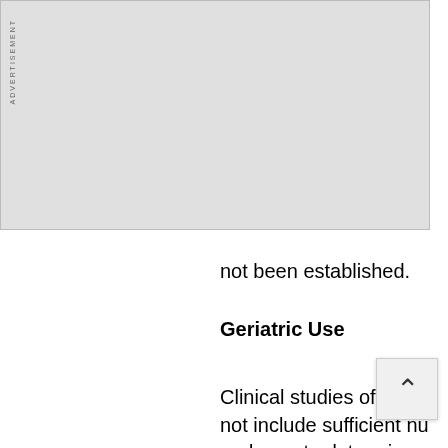[Figure (other): Advertisement placeholder box with vertical 'ADVERTISEMENT' label on left side]
not been established.
Geriatric Use
Clinical studies of CARA not include sufficient nu and over to determine w differently from younge clinical experience has n responses between the patients. In general, dos patient should be cauti